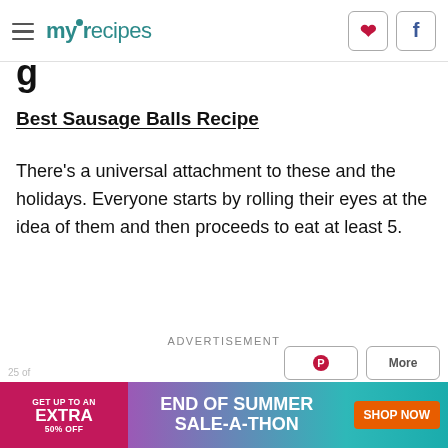myrecipes
g
Best Sausage Balls Recipe
There's a universal attachment to these and the holidays. Everyone starts by rolling their eyes at the idea of them and then proceeds to eat at least 5.
ADVERTISEMENT
[Figure (infographic): End of Summer Sale-a-Thon advertisement banner with pink/purple gradient background, text: GET UP TO AN EXTRA 50% OFF, END OF SUMMER SALE-A-THON, SHOP NOW button in orange]